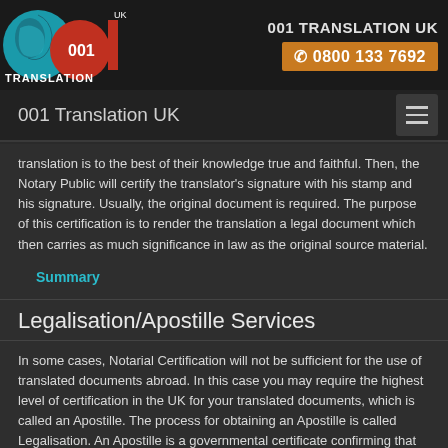[Figure (logo): 001 Translation UK logo with globe and red circle graphic]
001 TRANSLATION UK
☎ 0800 133 7692
001 Translation UK
translation is to the best of their knowledge true and faithful. Then, the Notary Public will certify the translator's signature with his stamp and his signature. Usually, the original document is required. The purpose of this certification is to render the translation a legal document which then carries as much significance in law as the original source material.
Summary
Legalisation/Apostille Services
In some cases, Notarial Certification will not be sufficient for the use of translated documents abroad. In this case you may require the highest level of certification in the UK for your translated documents, which is called an Apostille. The process for obtaining an Apostille is called Legalisation. An Apostille is a governmental certificate confirming that the insignia or seal on an official document is genuine. Legalisation is carried out by the Foreign Office or by other consular bodies or embassies abroad.